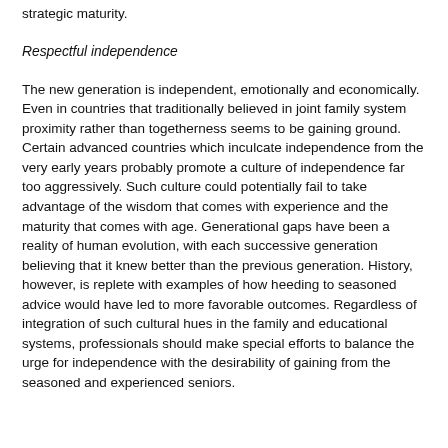strategic maturity.
Respectful independence
The new generation is independent, emotionally and economically. Even in countries that traditionally believed in joint family system proximity rather than togetherness seems to be gaining ground. Certain advanced countries which inculcate independence from the very early years probably promote a culture of independence far too aggressively. Such culture could potentially fail to take advantage of the wisdom that comes with experience and the maturity that comes with age. Generational gaps have been a reality of human evolution, with each successive generation believing that it knew better than the previous generation. History, however, is replete with examples of how heeding to seasoned advice would have led to more favorable outcomes. Regardless of integration of such cultural hues in the family and educational systems, professionals should make special efforts to balance the urge for independence with the desirability of gaining from the seasoned and experienced seniors.